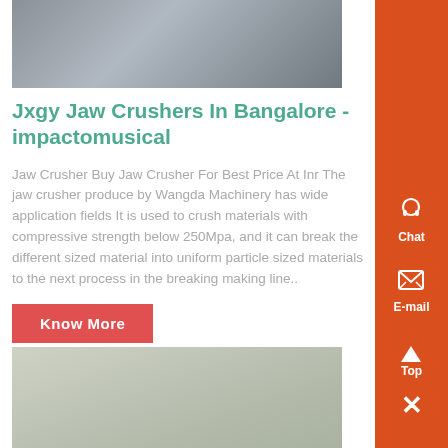[Figure (photo): Warehouse/industrial setting with stacked boxes or materials]
Jxgy Jaw Crushers In Bangalore - impactomusical
Jaw Crusher Buy Jaw Crusher For Best Price At Inr The jaw crusher produce by Wangda Machinery has wide application fields It is used to crush materials with compressive strength below 250Mpa, and it can break the different sized material into uniform particle sized materials to the next process in the breaking making line..
Know More
[Figure (photo): Industrial electrical cabinet or control panel equipment]
New Jxt Jaw Crusher For Sale -